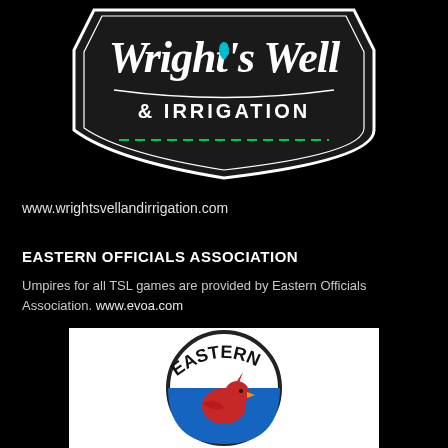[Figure (logo): Wright's Well & Irrigation logo — black badge/shield shape with white script text 'Wright's Well' and '& IRRIGATION' in caps, blue water drop, green dashed line at bottom]
www.wrightsvellandirrigation.com
EASTERN OFFICIALS ASSOCIATION
Umpires for all TSL games are provided by Eastern Officials Association. www.evoa.com
[Figure (logo): Eastern Officials Association logo — circular logo on white background showing the word EASTERN arched at top, a red cardinal bird on blue background in the center]